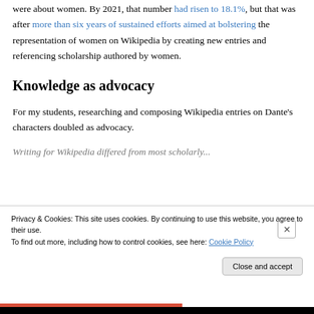were about women. By 2021, that number had risen to 18.1%, but that was after more than six years of sustained efforts aimed at bolstering the representation of women on Wikipedia by creating new entries and referencing scholarship authored by women.
Knowledge as advocacy
For my students, researching and composing Wikipedia entries on Dante's characters doubled as advocacy.
[partial line obscured by cookie banner]
Privacy & Cookies: This site uses cookies. By continuing to use this website, you agree to their use.
To find out more, including how to control cookies, see here: Cookie Policy
Close and accept